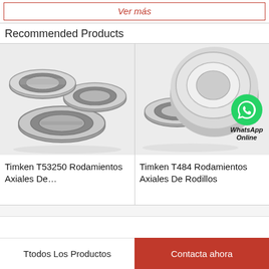Ver más
Recommended Products
[Figure (photo): Three tapered roller bearings (Timken T53250) arranged on white background]
Timken T53250 Rodamientos Axiales De…
[Figure (photo): Two tapered roller bearings (Timken T484) with WhatsApp Online badge overlay]
Timken T484 Rodamientos Axiales De Rodillos
Ttodos Los Productos
Contacta ahora